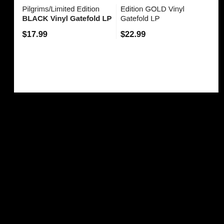Pilgrims/Limited Edition BLACK Vinyl Gatefold LP
$17.99
Edition GOLD Vinyl Gatefold LP
$22.99